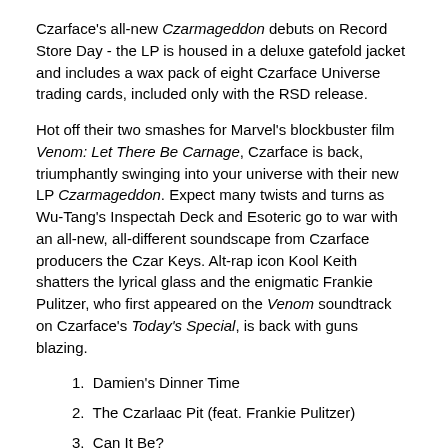Czarface's all-new Czarmageddon debuts on Record Store Day - the LP is housed in a deluxe gatefold jacket and includes a wax pack of eight Czarface Universe trading cards, included only with the RSD release.
Hot off their two smashes for Marvel's blockbuster film Venom: Let There Be Carnage, Czarface is back, triumphantly swinging into your universe with their new LP Czarmageddon. Expect many twists and turns as Wu-Tang's Inspectah Deck and Esoteric go to war with an all-new, all-different soundscape from Czarface producers the Czar Keys. Alt-rap icon Kool Keith shatters the lyrical glass and the enigmatic Frankie Pulitzer, who first appeared on the Venom soundtrack on Czarface's Today's Special, is back with guns blazing.
1. Damien's Dinner Time
2. The Czarlaac Pit (feat. Frankie Pulitzer)
3. Can It Be?
4. Walk Thru Walls
5. Splash Page
6. Bob LaCzar